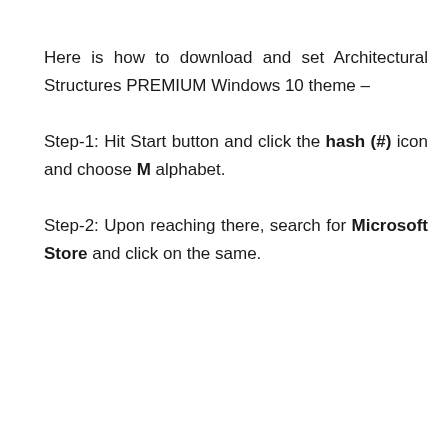Here is how to download and set Architectural Structures PREMIUM Windows 10 theme –
Step-1: Hit Start button and click the hash (#) icon and choose M alphabet.
Step-2: Upon reaching there, search for Microsoft Store and click on the same.